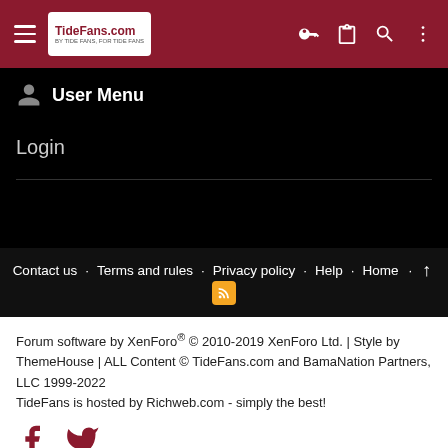TideFans.com navigation bar with hamburger menu, logo, key icon, clipboard icon, search icon, and more icon
User Menu
Login
Contact us  Terms and rules  Privacy policy  Help  Home
Forum software by XenForo® © 2010-2019 XenForo Ltd. | Style by ThemeHouse | ALL Content © TideFans.com and BamaNation Partners, LLC 1999-2022
TideFans is hosted by Richweb.com - simply the best!
AN ELITE CAFEMEDIA PUBLISHER